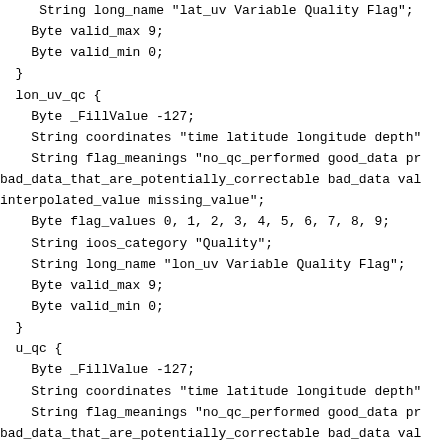String long_name "lat_uv Variable Quality Flag";
    Byte valid_max 9;
    Byte valid_min 0;
  }
  lon_uv_qc {
    Byte _FillValue -127;
    String coordinates "time latitude longitude depth"
    String flag_meanings "no_qc_performed good_data pr
bad_data_that_are_potentially_correctable bad_data val
interpolated_value missing_value";
    Byte flag_values 0, 1, 2, 3, 4, 5, 6, 7, 8, 9;
    String ioos_category "Quality";
    String long_name "lon_uv Variable Quality Flag";
    Byte valid_max 9;
    Byte valid_min 0;
  }
  u_qc {
    Byte _FillValue -127;
    String coordinates "time latitude longitude depth"
    String flag_meanings "no_qc_performed good_data pr
bad_data_that_are_potentially_correctable bad_data val
interpolated_value missing_value";
    Byte flag_values 0, 1, 2, 3, 4, 5, 6, 7, 8, 9;
    String ioos_category "Quality";
    String long_name "u Variable Quality Flag";
    Byte valid_max 9;